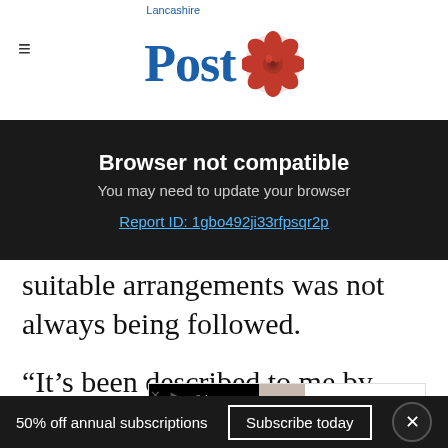[Figure (logo): Lancashire Post newspaper logo with blue 'Post' text and red rose illustration]
Browser not compatible
You may need to update your browser
Report ID: 1gbo492ji33rfpsqr2p
suitable arrangements was not always being followed.
“It’s been described to me by Lancashire County Council [which is responsible for social care] as like t...
[Figure (screenshot): Saks OFF 5TH advertisement for BCBGMAXAZRIA Animal-Print Bikini Bottom at $19.97, 67% OFF]
50% off annual subscriptions
Subscribe today